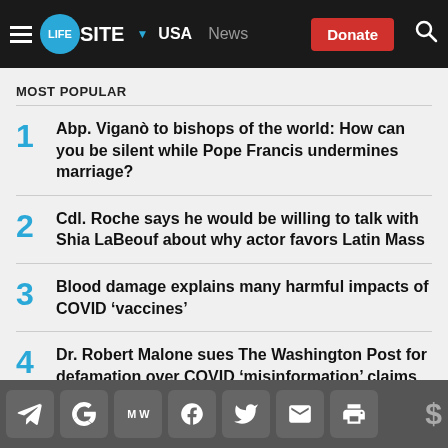LIFESITE ▼ USA  News  Donate
MOST POPULAR
1  Abp. Viganò to bishops of the world: How can you be silent while Pope Francis undermines marriage?
2  Cdl. Roche says he would be willing to talk with Shia LaBeouf about why actor favors Latin Mass
3  Blood damage explains many harmful impacts of COVID 'vaccines'
4  Dr. Robert Malone sues The Washington Post for defamation over COVID 'misinformation' claims
Social share icons: Telegram, Google, MeWe, Facebook, Twitter, Email, Print, Donate